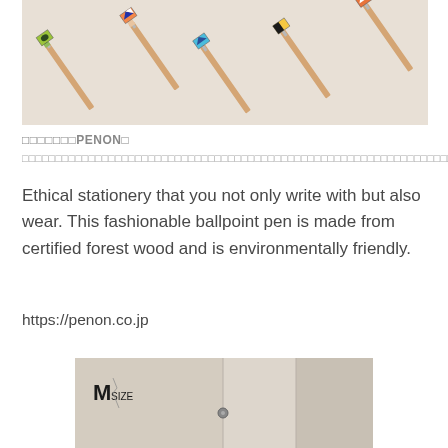[Figure (photo): Multiple pencil-like ballpoint pens with colorful flag-shaped tips arranged diagonally on a light cream background]
□□□□□□□PENON□
□□□□□□□□□□□□□□□□□□□□□□□□□□□□□□□□□□□□□□□□□□□□□□□□□□□□□□□□□□□□□□□□□□□□□□□□□□□□□□□□□□□□□□□□
Ethical stationery that you not only write with but also wear. This fashionable ballpoint pen is made from certified forest wood and is environmentally friendly.
https://penon.co.jp
[Figure (photo): Close-up of a linen or fabric pouch/organizer with an M SIZE label and metal snap buttons, in neutral beige tones]